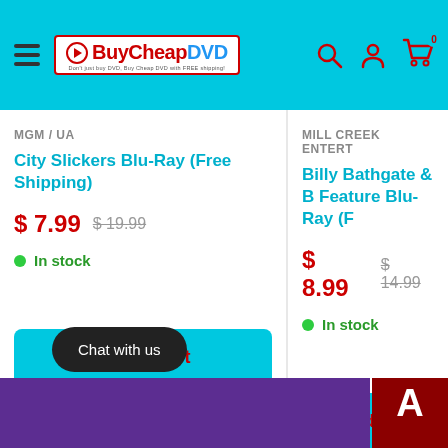[Figure (screenshot): BuyCheapDVD website header with logo, hamburger menu, search, account, and cart icons on cyan background]
MGM / UA
City Slickers Blu-Ray (Free Shipping)
$ 7.99  $ 19.99
In stock
Add to cart
MILL CREEK ENTERT
Billy Bathgate & B Feature Blu-Ray (F
$ 8.99  $ 14.99
In stock
Add to
Chat with us